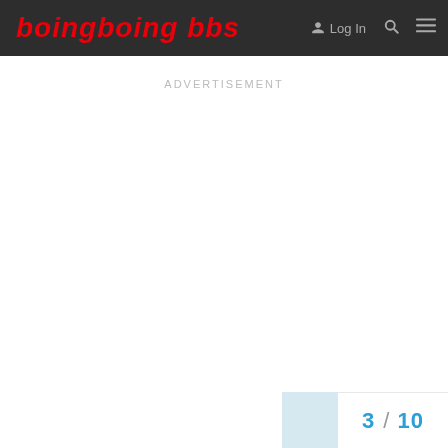boingboing bbs
ADVERTISEMENT
3 / 10